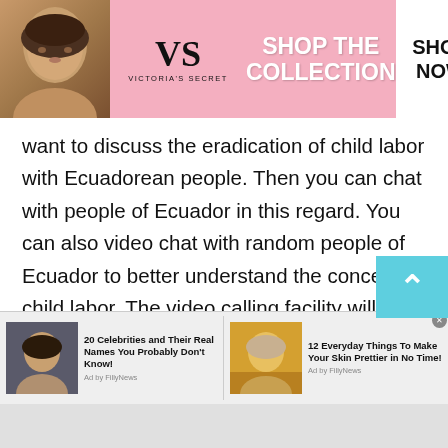[Figure (other): Victoria's Secret advertisement banner with model, VS logo, 'SHOP THE COLLECTION' text, and 'SHOP NOW' button]
want to discuss the eradication of child labor with Ecuadorean people. Then you can chat with people of Ecuador in this regard. You can also video chat with random people of Ecuador to better understand the concept of child labor. The video calling facility will enable you to look around the locality and the lifestyle of the people. And then you can directly ask them questions about why they force their children to work.
[Figure (other): Bottom advertisement strip with two ad items: '20 Celebrities and Their Real Names You Probably Don't Know!' by FillyNews, and '12 Everyday Things To Make Your Skin Prettier in No Time!' by FillyNews]